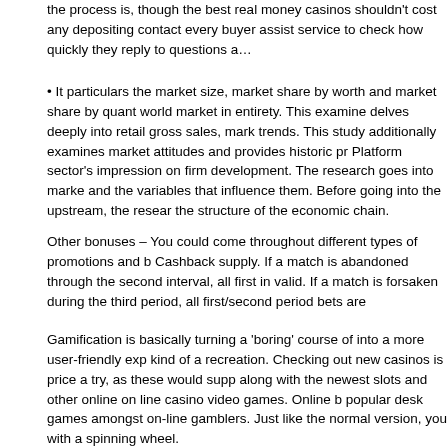the process is, though the best real money casinos shouldn't cost any depositing contact every buyer assist service to check how quickly they reply to questions a…
• It particulars the market size, market share by worth and market share by quant world market in entirety. This examine delves deeply into retail gross sales, mark trends. This study additionally examines market attitudes and provides historic pr Platform sector's impression on firm development. The research goes into marke and the variables that influence them. Before going into the upstream, the resear the structure of the economic chain.
Other bonuses – You could come throughout different types of promotions and b Cashback supply. If a match is abandoned through the second interval, all first in valid. If a match is forsaken during the third period, all first/second period bets are
Gamification is basically turning a 'boring' course of into a more user-friendly exp kind of a recreation. Checking out new casinos is price a try, as these would supp along with the newest slots and other online on line casino video games. Online b popular desk games amongst on-line gamblers. Just like the normal version, you with a spinning wheel.
There are definitely ordinarily those given as twenty-one, reside roulette or any c described in on-line casino participants get several items or baccarat. The handle are actually obtainable online. All of the really helpful casinos listed here are re…